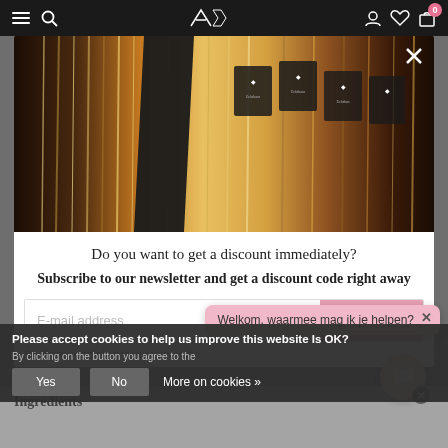Navigation bar with menu, search, profile, wishlist, cart icons
[Figure (photo): Person in black long-sleeve clothing reaching to select from a display of hair extensions hanging on a rack, with branded black packaging tags visible]
Do you want to get a discount immediately?
Subscribe to our newsletter and get a discount code right away
E-mail address
Yes, I want!
Welkom, waarmee mag ik je helpen?
By clicking on the button you agree to the
Please accept cookies to help us improve this website Is OK?
Yes
No
More on cookies »
Ingredients